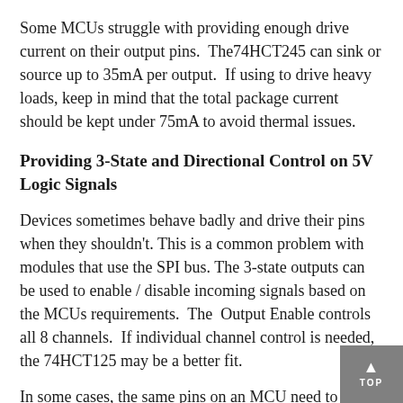Some MCUs struggle with providing enough drive current on their output pins.  The74HCT245 can sink or source up to 35mA per output.  If using to drive heavy loads, keep in mind that the total package current should be kept under 75mA to avoid thermal issues.
Providing 3-State and Directional Control on 5V Logic Signals
Devices sometimes behave badly and drive their pins when they shouldn't. This is a common problem with modules that use the SPI bus. The 3-state outputs can be used to enable / disable incoming signals based on the MCUs requirements.  The  Output Enable controls all 8 channels.  If individual channel control is needed, the 74HCT125 may be a better fit.
In some cases, the same pins on an MCU need to be used alternatively as inputs or outputs.  The directional control pin on the 74HCT245 can be used to change the direction of data flow through the device.